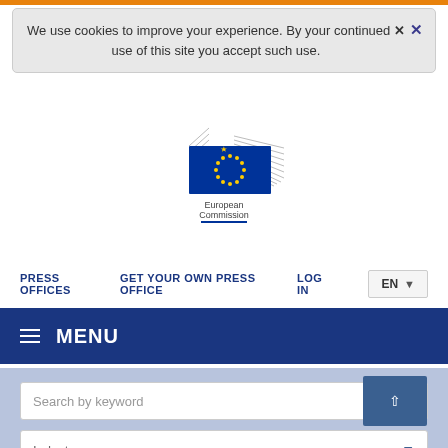We use cookies to improve your experience. By your continued use of this site you accept such use.
[Figure (logo): European Commission logo with EU flag stars and building graphic, text 'European Commission' below]
PRESS OFFICES   GET YOUR OWN PRESS OFFICE   LOG IN   EN
MENU
Search by keyword
Industry